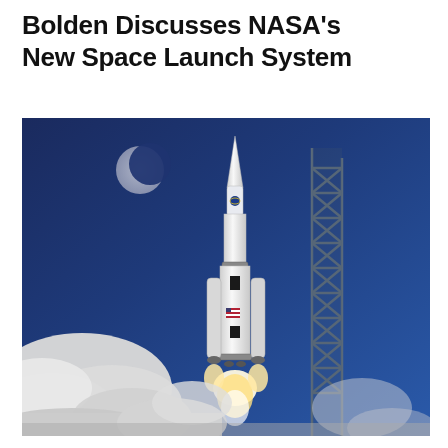Bolden Discusses NASA's New Space Launch System
[Figure (photo): NASA Space Launch System (SLS) rocket launching with clouds of white smoke at the base, a launch tower structure to the right, and a crescent moon visible in the dark blue sky background. The rocket is white with NASA markings and American flag insignia.]